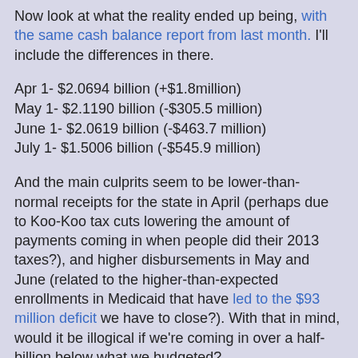Now look at what the reality ended up being, with the same cash balance report from last month. I'll include the differences in there.
Apr 1- $2.0694 billion (+$1.8million)
May 1- $2.1190 billion (-$305.5 million)
June 1- $2.0619 billion (-$463.7 million)
July 1- $1.5006 billion (-$545.9 million)
And the main culprits seem to be lower-than-normal receipts for the state in April (perhaps due to Koo-Koo tax cuts lowering the amount of payments coming in when people did their 2013 taxes?), and higher disbursements in May and June (related to the higher-than-expected enrollments in Medicaid that have led to the $93 million deficit we have to close?). With that in mind, would it be illogical if we're coming in over a half-billion below what we budgeted?
Now, I'm not going to claim that's what we'll see when the annual revenue numbers are released (likely on the Friday before Labor Day, since the numbers will suck), or when the